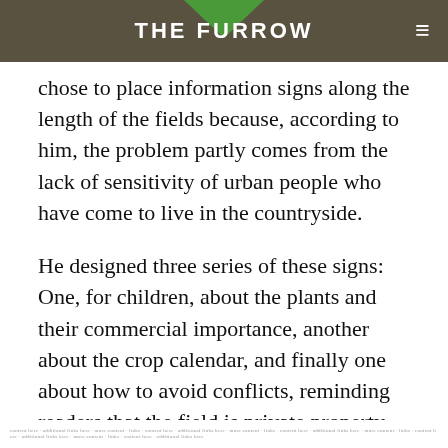THE FURROW
chose to place information signs along the length of the fields because, according to him, the problem partly comes from the lack of sensitivity of urban people who have come to live in the countryside.
He designed three series of these signs: One, for children, about the plants and their commercial importance, another about the crop calendar, and finally one about how to avoid conflicts, reminding readers that the field is private property, that animals are no toys, and so on.